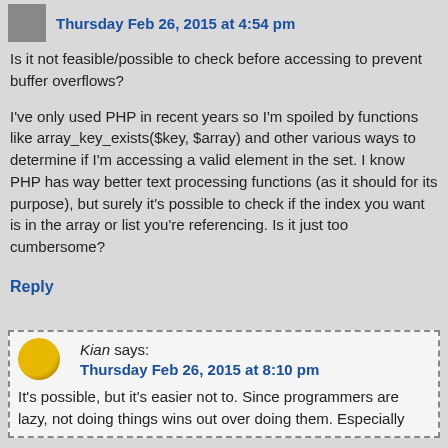Thursday Feb 26, 2015 at 4:54 pm
Is it not feasible/possible to check before accessing to prevent buffer overflows?
I've only used PHP in recent years so I'm spoiled by functions like array_key_exists($key, $array) and other various ways to determine if I'm accessing a valid element in the set. I know PHP has way better text processing functions (as it should for its purpose), but surely it's possible to check if the index you want is in the array or list you're referencing. Is it just too cumbersome?
Reply
Kian says:
Thursday Feb 26, 2015 at 8:10 pm
It's possible, but it's easier not to. Since programmers are lazy, not doing things wins out over doing them. Especially